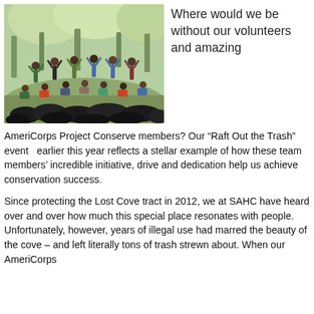[Figure (photo): Group photo of volunteers and AmeriCorps Project Conserve members outdoors in a forested area, with large black trash bags in the foreground, people cheering with arms raised.]
Where would we be without our volunteers and amazing
AmeriCorps Project Conserve members? Our “Raft Out the Trash” event  earlier this year reflects a stellar example of how these team members’ incredible initiative, drive and dedication help us achieve conservation success.
Since protecting the Lost Cove tract in 2012, we at SAHC have heard over and over how much this special place resonates with people. Unfortunately, however, years of illegal use had marred the beauty of the cove – and left literally tons of trash strewn about. When our AmeriCorps